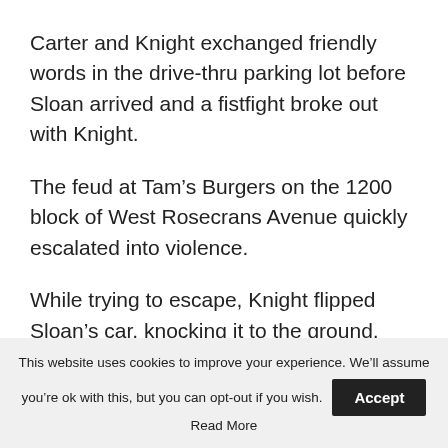Carter and Knight exchanged friendly words in the drive-thru parking lot before Sloan arrived and a fistfight broke out with Knight.
The feud at Tam’s Burgers on the 1200 block of West Rosecrans Avenue quickly escalated into violence.
While trying to escape, Knight flipped Sloan’s car, knocking it to the ground, before running over Carter and killing him.
This website uses cookies to improve your experience. We’ll assume you’re ok with this, but you can opt-out if you wish. Accept
Read More